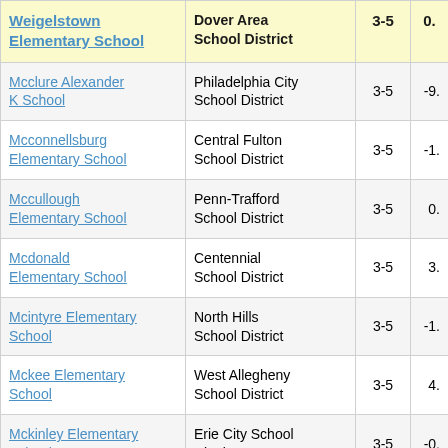| Weigelstown Elementary School | Dover Area School District | 3-5 | 0. |
| --- | --- | --- | --- |
| Mcclure Alexander K School | Philadelphia City School District | 3-5 | -9. |
| Mcconnellsburg Elementary School | Central Fulton School District | 3-5 | -1. |
| Mccullough Elementary School | Penn-Trafford School District | 3-5 | 0. |
| Mcdonald Elementary School | Centennial School District | 3-5 | 3. |
| Mcintyre Elementary School | North Hills School District | 3-5 | -1. |
| Mckee Elementary School | West Allegheny School District | 3-5 | 4. |
| Mckinley Elementary School | Erie City School District | 3-5 | -0. |
| (partial) | Abington School |  |  |